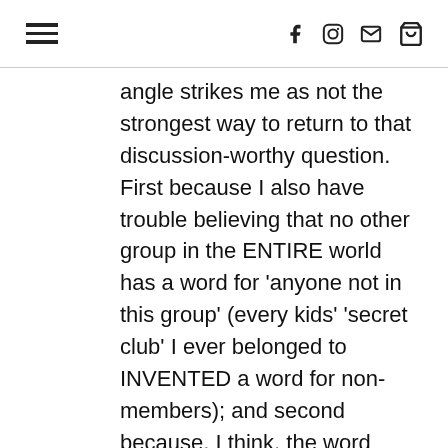[hamburger menu icon] [facebook icon] [instagram icon] [email icon] [shopping bag icon]
angle strikes me as not the strongest way to return to that discussion-worthy question. First because I also have trouble believing that no other group in the ENTIRE world has a word for 'anyone not in this group' (every kids' 'secret club' I ever belonged to INVENTED a word for non-members); and second because, I think, the word 'gentile' must come from Latin 'gens', 'people', which is a language that came way after Judaism originated; and third even if everyone else (in the Christian west?) did use the term